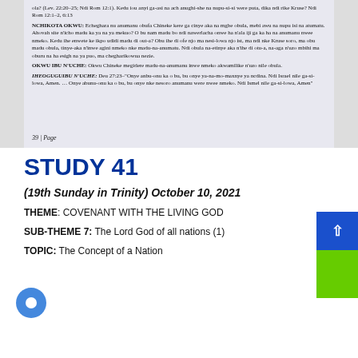[Figure (photo): Photograph of a printed book page showing text in Igbo language with sections labeled NCHIKOTA OKWU, OKWU IBU N'UCHE, and IHEOGUGUIBU N'UCHE, with page number 39 at the bottom.]
STUDY 41
(19th Sunday in Trinity) October 10, 2021
THEME: COVENANT WITH THE LIVING GOD
SUB-THEME 7: The Lord God of all nations (1)
TOPIC: The Concept of a Nation